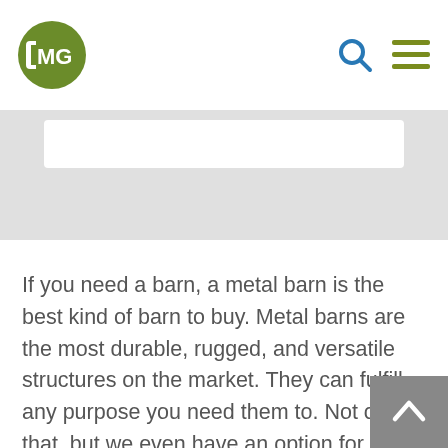[Figure (logo): CMG logo — green circle with white CMG letters]
[Figure (infographic): Navigation icons: search (magnifying glass) and hamburger menu in olive/blue]
[Figure (screenshot): Gray hero banner area with white search bar element]
If you need a barn, a metal barn is the best kind of barn to buy. Metal barns are the most durable, rugged, and versatile structures on the market. They can fulfill any purpose you need them to. Not only that, but we even have an option for our DIYers! Our metal barn kits are a solution